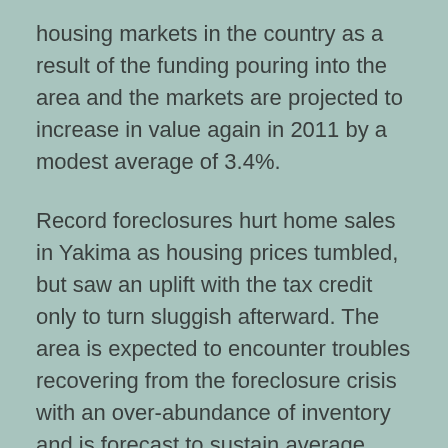housing markets in the country as a result of the funding pouring into the area and the markets are projected to increase in value again in 2011 by a modest average of 3.4%.
Record foreclosures hurt home sales in Yakima as housing prices tumbled, but saw an uplift with the tax credit only to turn sluggish afterward. The area is expected to encounter troubles recovering from the foreclosure crisis with an over-abundance of inventory and is forecast to sustain average home price deflation of 4.7% for the year.